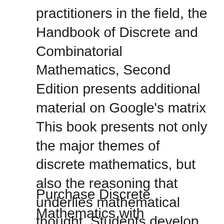practitioners in the field, the Handbook of Discrete and Combinatorial Mathematics, Second Edition presents additional material on Google's matrix This book presents not only the major themes of discrete mathematics, but also the reasoning that underlies mathematical thought. Students develop the ability to think abstractly as they study the ideas of logic and proof. While learning about such concepts as logic circuits and computer addition, algorithm analysis, recursive thinking, computability, automata, cryptography, and combinatorics
Purchase Discrete Mathematics with Applications, 1st Edition. Print Book &